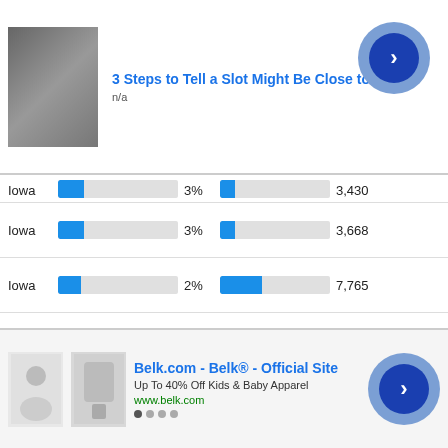[Figure (screenshot): Advertisement banner: photo of person near slot machine, title '3 Steps to Tell a Slot Might Be Close to', subtitle 'n/a', with circular arrow button]
| State | Bar1 | Pct | Bar2 | Count |
| --- | --- | --- | --- | --- |
| Iowa |  | 3% |  | 3,430 |
| Iowa |  | 3% |  | 3,668 |
| Iowa |  | 2% |  | 7,765 |
| Iowa |  | 2% |  | 7,872 |
| Iowa |  | 2% |  | 15,732 |
| Iowa |  | 2% |  | 7,385 |
| Iowa |  | 2% |  | 3,105 |
| Iowa |  | 2% |  | 2,847 |
| Iowa |  | 2% |  | 2,966 |
| Iowa |  | 2% |  | 8,663 |
| Iowa |  | 2% |  | 3,881 |
[Figure (screenshot): Advertisement banner: Belk.com - Belk Official Site, Up To 40% Off Kids & Baby Apparel, www.belk.com, with kids clothing images and circular arrow button]